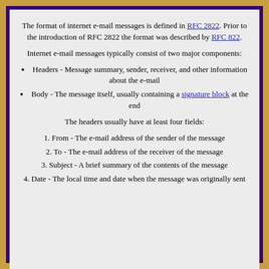The format of internet e-mail messages is defined in RFC 2822. Prior to the introduction of RFC 2822 the format was described by RFC 822.
Internet e-mail messages typically consist of two major components:
Headers - Message summary, sender, receiver, and other information about the e-mail
Body - The message itself, usually containing a signature block at the end
The headers usually have at least four fields:
From - The e-mail address of the sender of the message
To - The e-mail address of the receiver of the message
Subject - A brief summary of the contents of the message
Date - The local time and date when the message was originally sent